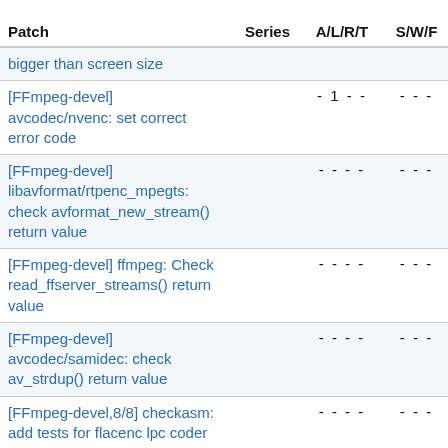| Patch | Series | A/L/R/T | S/W/F | Date |
| --- | --- | --- | --- | --- |
| bigger than screen size |  |  |  |  |
| [FFmpeg-devel] avcodec/nvenc: set correct error code |  | - 1 - - | - - - | 2017-1 |
| [FFmpeg-devel] libavformat/rtpenc_mpegts: check avformat_new_stream() return value |  | - - - - | - - - | 2017-1 |
| [FFmpeg-devel] ffmpeg: Check read_ffserver_streams() return value |  | - - - - | - - - | 2017-1 |
| [FFmpeg-devel] avcodec/samidec: check av_strdup() return value |  | - - - - | - - - | 2017-1 |
| [FFmpeg-devel,8/8] checkasm: add tests for flacenc lpc coder |  | - - - - | - - - | 2017-1 |
| [FFmpeg-devel,7/8] lavc/flacenc: add AVX2 version of the 32-bit LPC encoder |  | - - - - | - - - | 2017-1 |
| [FFmpeg-devel,6/8] |  |  |  |  |